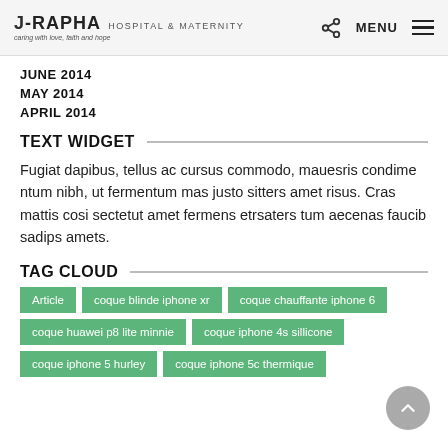J-RAPHA HOSPITAL & MATERNITY — caring with love, faith and hope | MENU
JUNE 2014
MAY 2014
APRIL 2014
TEXT WIDGET
Fugiat dapibus, tellus ac cursus commodo, mauesris condimentum nibh, ut fermentum mas justo sitters amet risus. Cras mattis cosi sectetut amet fermens etrsaters tum aecenas faucib sadips amets.
TAG CLOUD
Article | coque blinde iphone xr | coque chauffante iphone 6 | coque huawei p8 lite minnie | coque iphone 4s sillicone | coque iphone 5 hurley | coque iphone 5c thermique